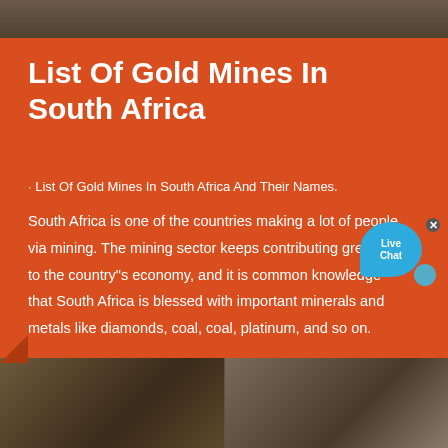[Figure (photo): Mining site photograph at top of page]
List Of Gold Mines In South Africa
· List Of Gold Mines In South Africa And Their Names.
South Africa is one of the countries making a lot of people via mining. The mining sector keeps contributing greatly to the country"s economy, and it is common knowledge that South Africa is blessed with important minerals and metals like diamonds, coal, coal, platinum, and so on.
[Figure (other): Live Chat bubble widget]
Read More
[Figure (photo): Mining equipment photographs at bottom of page]